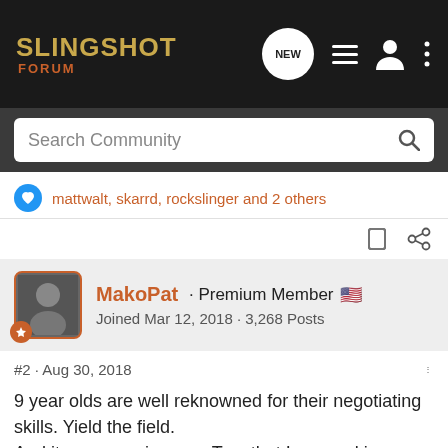SLINGSHOT FORUM
Search Community
mattwalt, skarrd, rockslinger and 2 others
MakoPat · Premium Member 🇺🇸
Joined Mar 12, 2018 · 3,268 Posts
#2 · Aug 30, 2018
9 year olds are well reknowned for their negotiating skills. Yield the field.
And it may surprise you, Tag, that I am working on a diy project that will help. I turned some spoons intoba pseudo-wind chime bee feeder. I will send my 2nd one to you for Max... to possibly regain favor and SAVE THE BEES! 1 part table sugar and 4 parts distilled water is all you will need.